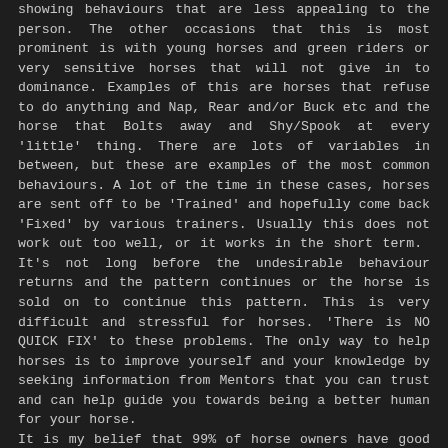showing behaviours that are less appealing to the person. The other occasions that this is most prominent is with young horses and green riders or very sensitive horses that will not give in to dominance. Examples of this are horses that refuse to do anything and Nap, Rear and/or Buck etc and the horse that Bolts away and Shy/Spook at every 'little' thing. There are lots of variables in between, but these are examples of the most common behaviours. A lot of the time in these cases, horses are sent off to be 'Trained' and hopefully come back 'Fixed' by various trainers. Usually this does not work out too well, or it works in the short term. It's not long before the undesirable behaviour returns and the pattern continues or the horse is sold on to continue this pattern. This is very difficult and stressful for horses. 'There is NO QUICK FIX' to these problems. The only way to help horses is to improve yourself and your knowledge by seeking information from Mentors that you can trust and can help guide you towards being a better human for your horse. It is my belief that 99% of horse owners have good intentions. The key is to take responsibility and back up these good intentions with good behaviours. Again, this is often not the case. It's easy to excuse undesirable behaviours when your 'intentions'